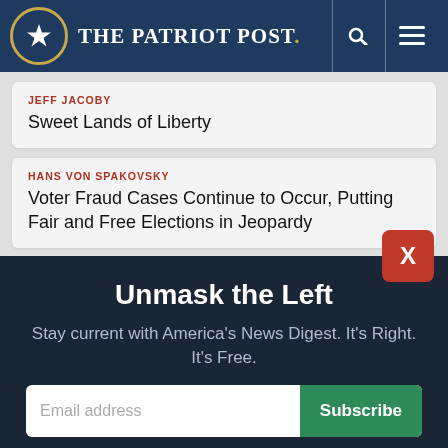The Patriot Post
JEFF JACOBY — Sweet Lands of Liberty
HANS VON SPAKOVSKY — Voter Fraud Cases Continue to Occur, Putting Fair and Free Elections in Jeopardy
Unmask the Left
Stay current with America's News Digest. It's Right. It's Free.
Email address | Subscribe
I'm Already Subscribed